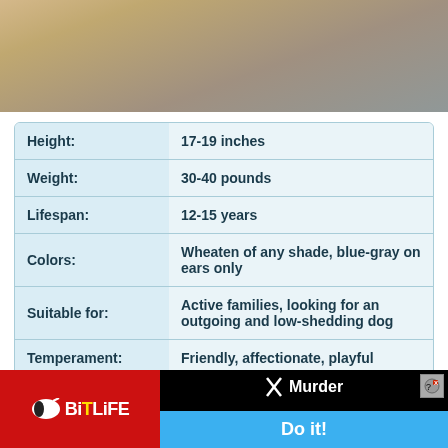[Figure (photo): Close-up photo of a fluffy dog's paws and legs on a pavement surface]
| Label | Value |
| --- | --- |
| Height: | 17-19 inches |
| Weight: | 30-40 pounds |
| Lifespan: | 12-15 years |
| Colors: | Wheaten of any shade, blue-gray on ears only |
| Suitable for: | Active families, looking for an outgoing and low-shedding dog |
| Temperament: | Friendly, affectionate, playful |
The So... is that you ca... e.
[Figure (other): BitLife advertisement banner with Murder Do it! text and close button]